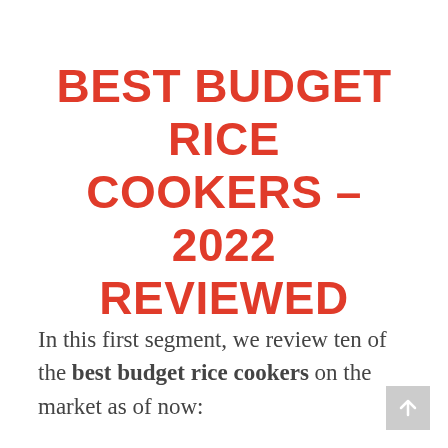BEST BUDGET RICE COOKERS – 2022 REVIEWED
In this first segment, we review ten of the best budget rice cookers on the market as of now: